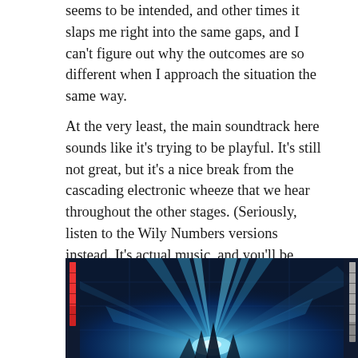seems to be intended, and other times it slaps me right into the same gaps, and I can't figure out why the outcomes are so different when I approach the situation the same way.
At the very least, the main soundtrack here sounds like it's trying to be playful. It's still not great, but it's a nice break from the cascading electronic wheeze that we hear throughout the other stages. (Seriously, listen to the Wily Numbers versions instead. It's actual music, and you'll be surprised how rich it sounds in comparison.)
[Figure (screenshot): A video game screenshot showing a boss battle scene with dramatic blue light beams radiating from a central point against a dark blue mechanical background. Health bars are visible on the left and right edges of the screen.]